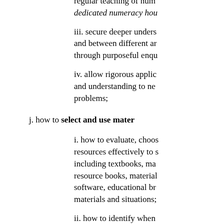regular teaching of num... dedicated numeracy hou...
iii. secure deeper unders... and between different ar... through purposeful enqu...
iv. allow rigorous applic... and understanding to ne... problems;
j. how to select and use mater...
i. how to evaluate, choos... resources effectively to s... including textbooks, ma... resource books, material... software, educational br... materials and situations;
ii. how to identify when... to support progression in...
k. how to lead oral work whi... which: